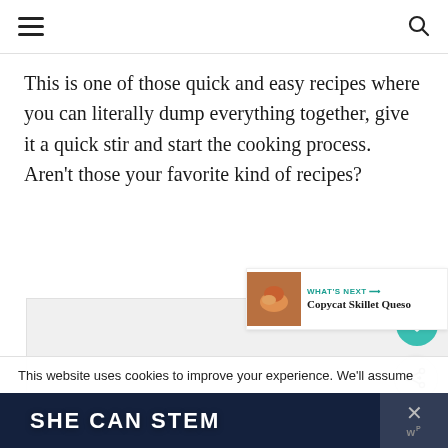This is one of those quick and easy recipes where you can literally dump everything together, give it a quick stir and start the cooking process. Aren’t those your favorite kind of recipes?
[Figure (photo): Food image placeholder, light gray background]
[Figure (infographic): WHAT'S NEXT arrow label with Copycat Skillet Queso thumbnail]
This website uses cookies to improve your experience. We'll assume
[Figure (infographic): Dark advertisement banner reading SHE CAN STEM with close button]